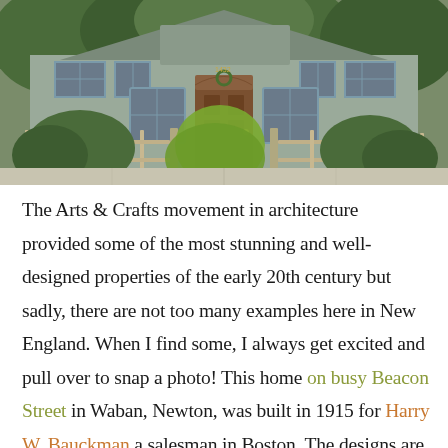[Figure (photo): Photograph of a craftsman-style house with gray shingle siding, blue-trimmed windows, a central wooden door, lattice fence in front, and lush green shrubs and plants in the garden.]
The Arts & Crafts movement in architecture provided some of the most stunning and well-designed properties of the early 20th century but sadly, there are not too many examples here in New England. When I find some, I always get excited and pull over to snap a photo! This home on busy Beacon Street in Waban, Newton, was built in 1915 for Harry W. Bauckman a salesman in Boston. The designs are credited to architect James G. Hutchinson, who specialized in Arts & Crafts and Tudor style buildings in the area. The Bauckman House is Foursquare in form which basically segments the house into four large rooms on each floor with a stairhall in the center. The